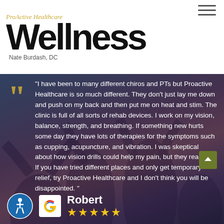[Figure (logo): ProActive Healthcare Wellness logo with Nate Burdash, DC text]
"I have been to many different chiros and PTs but Proactive Healthcare is so much different. They don't just lay me down and push on my back and then put me on heat and stim. The clinic is full of all sorts of rehab devices. I work on my vision, balance, strength, and breathing. If something new hurts some day they have lots of therapies for the symptoms such as cupping, acupuncture, and vibration. I was skeptical about how vision drills could help my pain, but they really do. If you have tried different places and only get temporary relief, try Proactive Healthcare and I don't think you will be disappointed. "
Robert
[Figure (other): Accessibility icon (wheelchair user in circle) and Google G logo with 5 star rating]